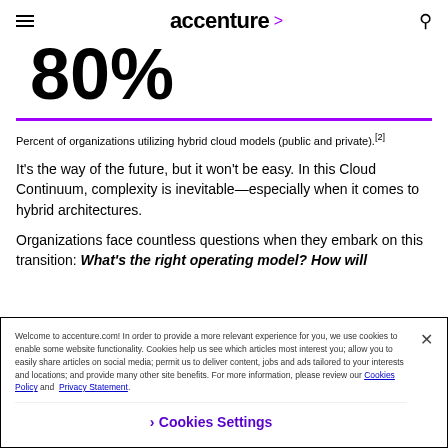accenture
80%
Percent of organizations utilizing hybrid cloud models (public and private).[2]
It's the way of the future, but it won't be easy. In this Cloud Continuum, complexity is inevitable—especially when it comes to hybrid architectures.
Organizations face countless questions when they embark on this transition: What's the right operating model? How will
Welcome to accenture.com! In order to provide a more relevant experience for you, we use cookies to enable some website functionality. Cookies help us see which articles most interest you; allow you to easily share articles on social media; permit us to deliver content, jobs and ads tailored to your interests and locations; and provide many other site benefits. For more information, please review our Cookies Policy and Privacy Statement.
Cookies Settings